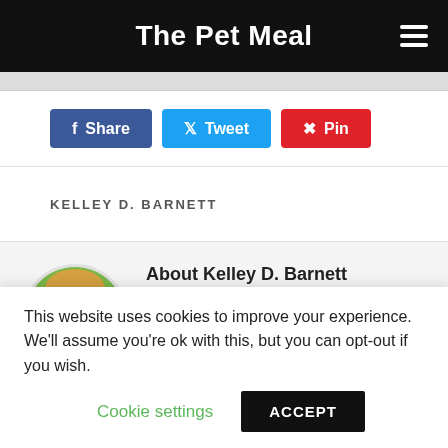The Pet Meal
[Figure (illustration): Partial image strip visible at top of content area]
Share  Tweet  Pin
KELLEY D. BARNETT
About Kelley D. Barnett
ThePetMeal.com was established by the people who have a genuine passion
This website uses cookies to improve your experience. We'll assume you're ok with this, but you can opt-out if you wish.
Cookie settings  ACCEPT